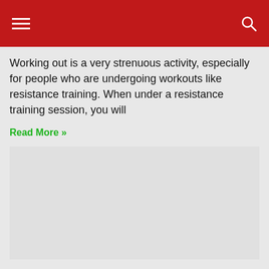Working out is a very strenuous activity, especially for people who are undergoing workouts like resistance training. When under a resistance training session, you will
Read More »
[Figure (photo): Image placeholder / blank area]
How women can solve facial hair issues and what causes those problems
The causes of female chin hair: As a female's body ages and gets